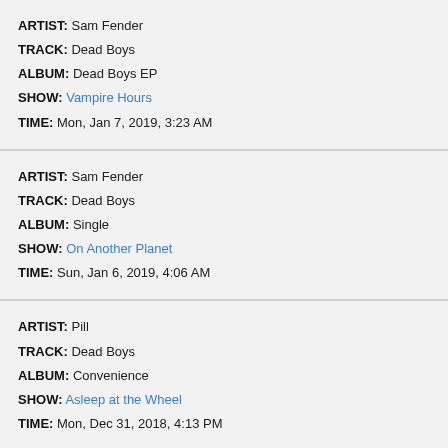ARTIST: Sam Fender
TRACK: Dead Boys
ALBUM: Dead Boys EP
SHOW: Vampire Hours
TIME: Mon, Jan 7, 2019, 3:23 AM
ARTIST: Sam Fender
TRACK: Dead Boys
ALBUM: Single
SHOW: On Another Planet
TIME: Sun, Jan 6, 2019, 4:06 AM
ARTIST: Pill
TRACK: Dead Boys
ALBUM: Convenience
SHOW: Asleep at the Wheel
TIME: Mon, Dec 31, 2018, 4:13 PM
ARTIST: Sam Fender
TRACK: Dead Boys
ALBUM: Dead Boys EP
SHOW: Nancy Has the Shingles